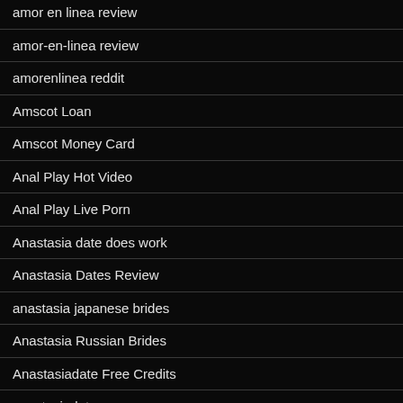amor en linea review
amor-en-linea review
amorenlinea reddit
Amscot Loan
Amscot Money Card
Anal Play Hot Video
Anal Play Live Porn
Anastasia date does work
Anastasia Dates Review
anastasia japanese brides
Anastasia Russian Brides
Anastasiadate Free Credits
anastasiadates username